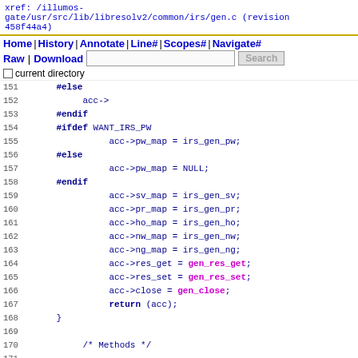xref: /illumos-gate/usr/src/lib/libresolv2/common/irs/gen.c (revision 458f44a4)
Home | History | Annotate | Line# | Scopes# | Navigate#
Raw | Download    [Search]  Search
□ current directory
151    #else
152         acc->
153    #endif
154    #ifdef WANT_IRS_PW
155              acc->pw_map = irs_gen_pw;
156    #else
157              acc->pw_map = NULL;
158    #endif
159              acc->sv_map = irs_gen_sv;
160              acc->pr_map = irs_gen_pr;
161              acc->ho_map = irs_gen_ho;
162              acc->nw_map = irs_gen_nw;
163              acc->ng_map = irs_gen_ng;
164              acc->res_get = gen_res_get;
165              acc->res_set = gen_res_set;
166              acc->close = gen_close;
167              return (acc);
168    }
169    
170         /* Methods */
171    
172         static struct __res_state *
173    gen_res_get(struct irs_acc *this) {
174              struct gen_p *irs = (struct gen_p *)this->
175